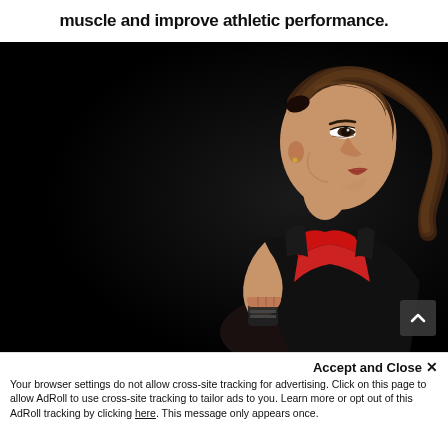muscle and improve athletic performance.
[Figure (photo): A female athlete in profile view wearing a black and red sports top, fist raised near her chin, dark background — fitness/boxing theme.]
Accept and Close ✕
Your browser settings do not allow cross-site tracking for advertising. Click on this page to allow AdRoll to use cross-site tracking to tailor ads to you. Learn more or opt out of this AdRoll tracking by clicking here. This message only appears once.